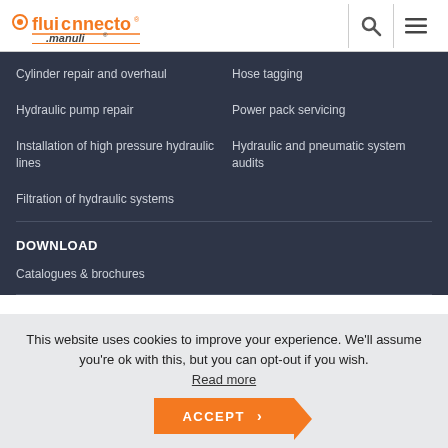[Figure (logo): Fluiconnecto by Manuli logo with orange text and stylized icon]
Cylinder repair and overhaul
Hose tagging
Hydraulic pump repair
Power pack servicing
Installation of high pressure hydraulic lines
Hydraulic and pneumatic system audits
Filtration of hydraulic systems
DOWNLOAD
Catalogues & brochures
This website uses cookies to improve your experience. We'll assume you're ok with this, but you can opt-out if you wish. Read more